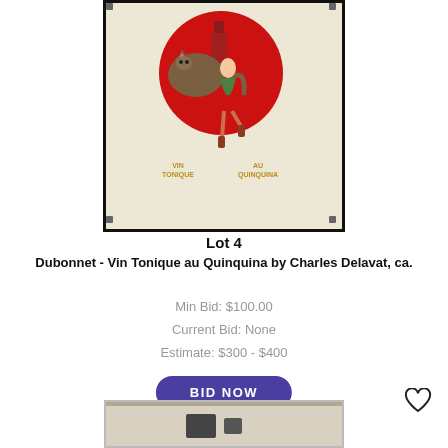[Figure (photo): Framed vintage Dubonnet advertising poster showing a cat with a bottle and a woman dancing, with text 'Vin Tonique au Quinquina' on a red circle background]
Lot 4
Dubonnet - Vin Tonique au Quinquina by Charles Delavat, ca.
Min Bid: $100.00
Current Bid: None
Estimate: $300 - $400
BID NOW
[Figure (photo): Partial view of another framed artwork at bottom of page]